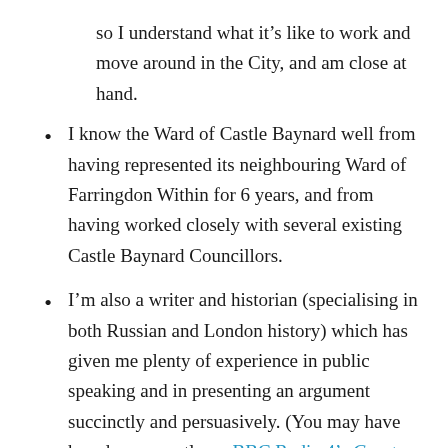so I understand what it's like to work and move around in the City, and am close at hand.
I know the Ward of Castle Baynard well from having represented its neighbouring Ward of Farringdon Within for 6 years, and from having worked closely with several existing Castle Baynard Councillors.
I'm also a writer and historian (specialising in both Russian and London history) which has given me plenty of experience in public speaking and in presenting an argument succinctly and persuasively. (You may have heard me recently on BBC Radio 4's Great Lives, for instance, talking with Matthew Parris and Barbara Stocking about the life of Catherine the Great.)